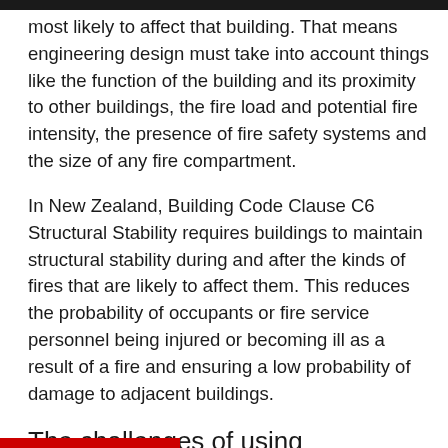most likely to affect that building. That means engineering design must take into account things like the function of the building and its proximity to other buildings, the fire load and potential fire intensity, the presence of fire safety systems and the size of any fire compartment.
In New Zealand, Building Code Clause C6 Structural Stability requires buildings to maintain structural stability during and after the kinds of fires that are likely to affect them. This reduces the probability of occupants or fire service personnel being injured or becoming ill as a result of a fire and ensuring a low probability of damage to adjacent buildings.
The challenges of using engineered wood products in performance-based